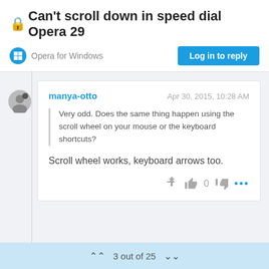🔒 Can't scroll down in speed dial Opera 29
Opera for Windows
Log in to reply
manya-otto   Apr 30, 2015, 10:28 AM

Very odd. Does the same thing happen using the scroll wheel on your mouse or the keyboard shortcuts?

Scroll wheel works, keyboard arrows too.
3 out of 25